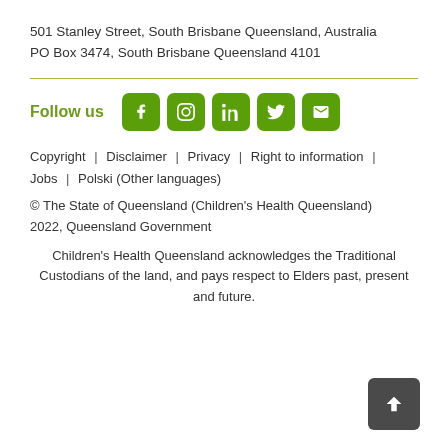501 Stanley Street, South Brisbane Queensland, Australia
PO Box 3474, South Brisbane Queensland 4101
Follow us
[Figure (other): Social media icon buttons: Facebook, Instagram, LinkedIn, Twitter, Email]
Copyright  |  Disclaimer  |  Privacy  |  Right to information  |  Jobs  |  Polski (Other languages)
© The State of Queensland (Children's Health Queensland) 2022, Queensland Government
Children's Health Queensland acknowledges the Traditional Custodians of the land, and pays respect to Elders past, present and future.